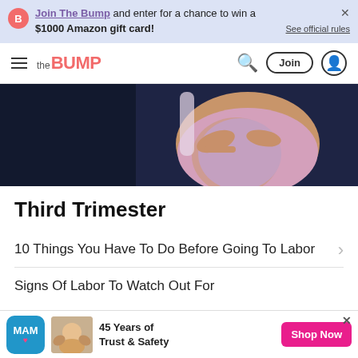Join The Bump and enter for a chance to win a $1000 Amazon gift card! See official rules
the BUMP — navigation with search, Join, user icon
[Figure (photo): Pregnant woman in pink/lavender top holding her belly against a dark background]
Third Trimester
10 Things You Have To Do Before Going To Labor
Signs Of Labor To Watch Out For
[Figure (other): MAM brand advertisement: 45 Years of Trust & Safety with Shop Now button in pink]